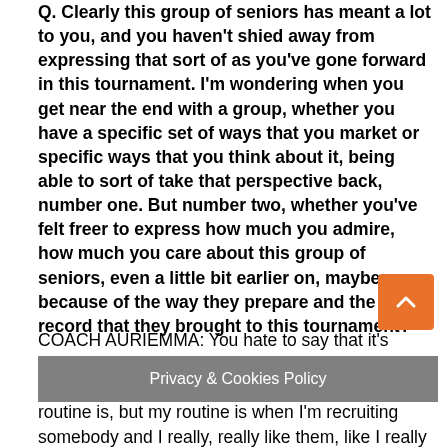Q. Clearly this group of seniors has meant a lot to you, and you haven't shied away from expressing that sort of as you've gone forward in this tournament. I'm wondering when you get near the end with a group, whether you have a specific set of ways that you market or specific ways that you think about it, being able to sort of take that perspective back, number one. But number two, whether you've felt freer to express how much you admire, how much you care about this group of seniors, even a little bit earlier on, maybe because of the way they prepare and the track record that they brought to this tournament?
COACH AURIEMMA: You hate to say that it's routine, but this is a routine that college coaches go through. I don't know what other coaches routine is, but my routine is when I'm recruiting somebody and I really, really like them, like I really like them. And I can't wait to get the freshman year. From October their...